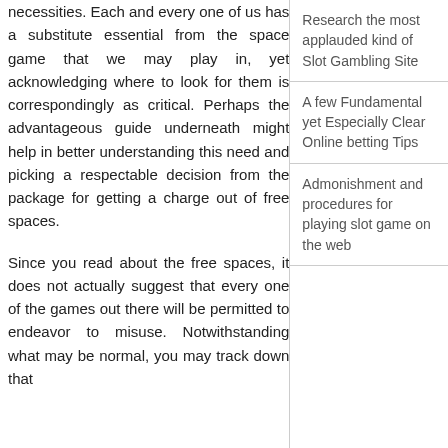necessities. Each and every one of us has a substitute essential from the space game that we may play in, yet acknowledging where to look for them is correspondingly as critical. Perhaps the advantageous guide underneath might help in better understanding this need and picking a respectable decision from the package for getting a charge out of free spaces.
Since you read about the free spaces, it does not actually suggest that every one of the games out there will be permitted to endeavor to misuse. Notwithstanding what may be normal, you may track down that
Research the most applauded kind of Slot Gambling Site
A few Fundamental yet Especially Clear Online betting Tips
Admonishment and procedures for playing slot game on the web